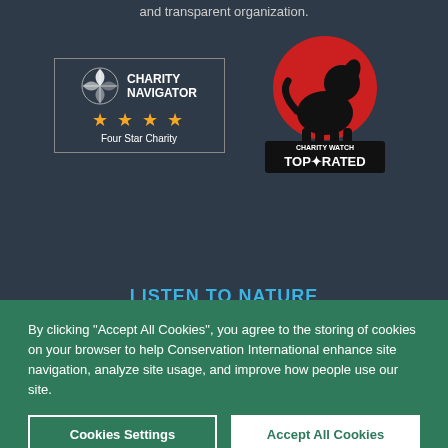and transparent organization.
[Figure (logo): Charity Navigator Four Star Charity badge with compass logo and four gold stars]
[Figure (logo): Charity Watch Top-Rated badge with dog silhouette and red circle]
LISTEN TO NATURE
[Figure (photo): Forest scene with large tree trunk and green foliage]
By clicking “Accept All Cookies”, you agree to the storing of cookies on your browser to help Conservation International enhance site navigation, analyze site usage, and improve how people use our site.
Cookies Settings
Accept All Cookies